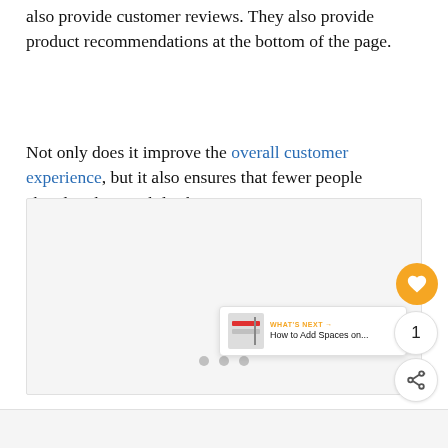also provide customer reviews. They also provide product recommendations at the bottom of the page.
Not only does it improve the overall customer experience, but it also ensures that fewer people abandon their mobile shopping carts.
[Figure (screenshot): Screenshot of a mobile e-commerce product page showing a carousel with navigation dots, a heart/like button (orange), a count of 1, and a share button. A 'What's Next' card shows a thumbnail and links to 'How to Add Spaces on...'.]